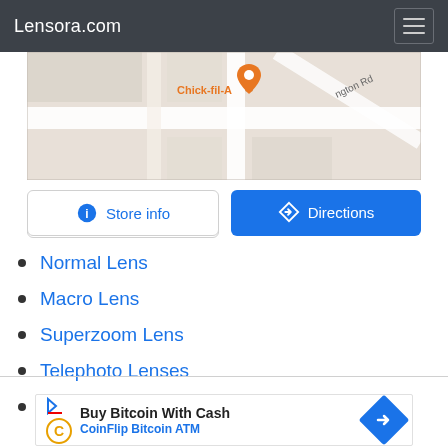Lensora.com
[Figure (map): Google Maps snippet showing a location near Chick-fil-A with a map marker, partial street view with 'Chick-fil-A' label and 'ngton Rd' text.]
Normal Lens
Macro Lens
Superzoom Lens
Telephoto Lenses
Tilt Shift Lenses
[Figure (screenshot): Advertisement banner: Buy Bitcoin With Cash - CoinFlip Bitcoin ATM with logos and directions icon.]